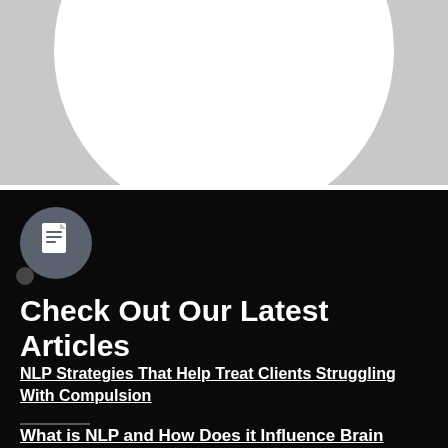[Figure (screenshot): Email subscription widget with text input placeholder 'Type your email here...' and a dark send button with paper airplane icon, inside a white circle on a gray background]
[Figure (illustration): Document icon inside a gray circle, with a small gray circle below-left, on a black background]
Check Out Our Latest Articles
NLP Strategies That Help Treat Clients Struggling With Compulsion
What is NLP and How Does it Influence Brain Behavior?